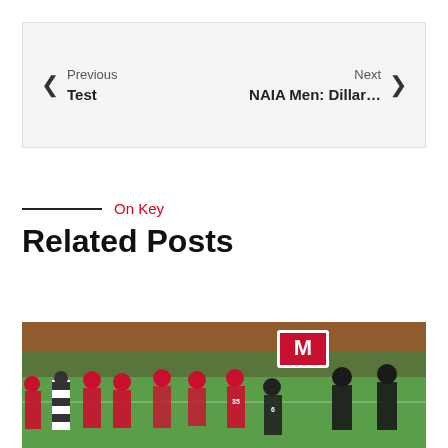Previous Test | Next NAIA Men: Dillar…
On Key
Related Posts
[Figure (photo): Football game photo showing players in red helmets and dark uniforms on a field, with a large M logo sign visible in the background stands.]